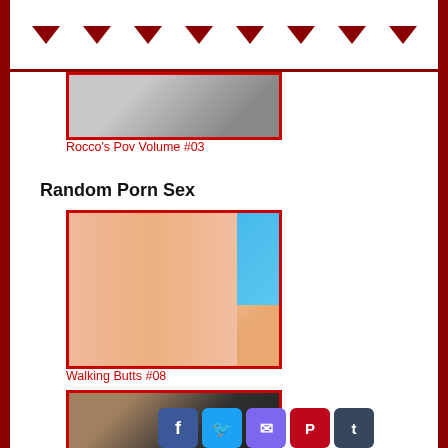▼ ▼ ▼ ▼ ▼ ▼ ▼ ▼
[Figure (photo): Cropped photo with red border at top]
Rocco's Pov Volume #03
Random Porn Sex
[Figure (photo): Woman in pink/peach dress outdoors with blue sky background, red border]
Walking Butts #08
[Figure (photo): Partially visible image with social media share buttons overlay]
[Figure (infographic): Social media share buttons: Facebook, Twitter, Email, Pinterest, Tumblr, Reddit, Blogger, WordPress, VK, More]